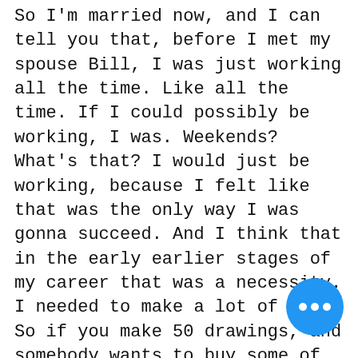So I'm married now, and I can tell you that, before I met my spouse Bill, I was just working all the time. Like all the time. If I could possibly be working, I was. Weekends? What's that? I would just be working, because I felt like that was the only way I was gonna succeed. And I think that in the early earlier stages of my career that was a necessity. I needed to make a lot of work. So if you make 50 drawings, and somebody wants to buy some of your work, then it's more likely that they're going to find one they like in 50 rather than if you just made one. So it felt like out of an economic necessity, and it was also a way to get better at my craft. Every drawing I make is an opportunity to become a better artist.
When you're making art, you're figuring things out - what's working for you, what materials are doing, you're discovering the things that you want to be investigating the process of creation. And I really felt like it starts and ends with the work. If you're not making good work, then what are you going to promote? You can't just make one piece...
[Figure (other): Blue circular chat/menu button with three white dots (ellipsis) in the bottom right corner of the page.]